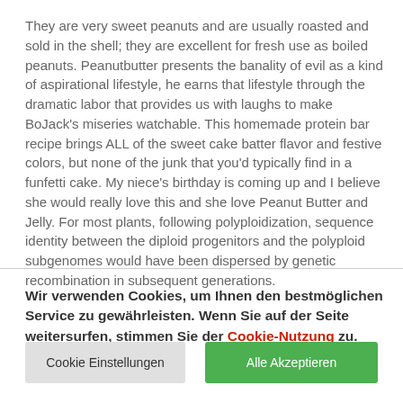They are very sweet peanuts and are usually roasted and sold in the shell; they are excellent for fresh use as boiled peanuts. Peanutbutter presents the banality of evil as a kind of aspirational lifestyle, he earns that lifestyle through the dramatic labor that provides us with laughs to make BoJack's miseries watchable. This homemade protein bar recipe brings ALL of the sweet cake batter flavor and festive colors, but none of the junk that you'd typically find in a funfetti cake. My niece's birthday is coming up and I believe she would really love this and she love Peanut Butter and Jelly. For most plants, following polyploidization, sequence identity between the diploid progenitors and the polyploid subgenomes would have been dispersed by genetic recombination in subsequent generations.
Wir verwenden Cookies, um Ihnen den bestmöglichen Service zu gewährleisten. Wenn Sie auf der Seite weitersurfen, stimmen Sie der Cookie-Nutzung zu.
Cookie Einstellungen
Alle Akzeptieren